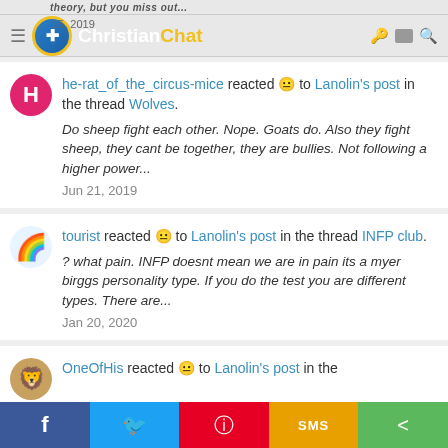Christian Chat — Jun 15, 2019
he-rat_of_the_circus-mice reacted 😐 to Lanolin's post in the thread Wolves.
Do sheep fight each other. Nope. Goats do. Also they fight sheep, they cant be together, they are bullies. Not following a higher power...
Jun 21, 2019
tourist reacted 😐 to Lanolin's post in the thread INFP club.
? what pain. INFP doesnt mean we are in pain its a myer birggs personality type. If you do the test you are different types. There are...
Jan 20, 2020
OneOfHis reacted 😐 to Lanolin's post in the
Share buttons: Facebook, Twitter, Pinterest, SMS, More